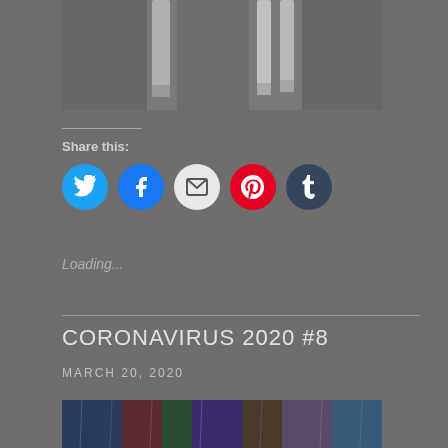[Figure (photo): Dark gray photo showing white pipes against a gray background, cropped at top]
Share this:
[Figure (infographic): Social share buttons: Twitter (blue), Facebook (blue), Email (white/gray), Pinterest (red), Tumblr (dark blue) — circular icon buttons]
Loading...
CORONAVIRUS 2020 #8
MARCH 20, 2020
[Figure (photo): Colorful abstract photo with blue, red and green hues, partially visible at bottom]